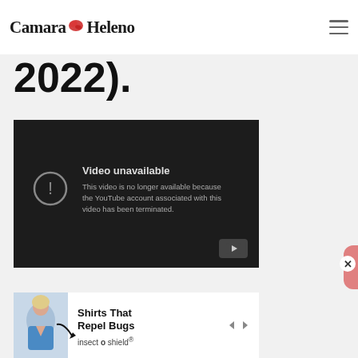Camara Heleno
2022).
[Figure (screenshot): Embedded YouTube video player showing 'Video unavailable' message. Text reads: 'This video is no longer available because the YouTube account associated with this video has been terminated.' YouTube play button icon visible in bottom right corner.]
[Figure (photo): Partial advertisement banner at bottom of page showing a woman in blue top with arrow pointing down, 'Shirts That Repel Bugs insect shield' text, and navigation arrows.]